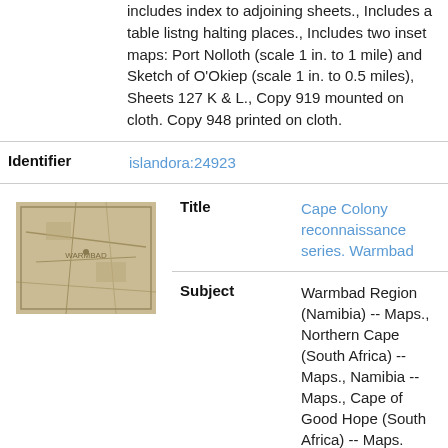Includes index to adjoining sheets., Includes a table listng halting places., Includes two inset maps: Port Nolloth (scale 1 in. to 1 mile) and Sketch of O'Okiep (scale 1 in. to 0.5 miles), Sheets 127 K & L., Copy 919 mounted on cloth. Copy 948 printed on cloth.
|  | Field | Value |
| --- | --- | --- |
|  | Identifier | islandora:24923 |
| [thumbnail] | Title | Cape Colony reconnaissance series. Warmbad |
|  | Subject | Warmbad Region (Namibia) -- Maps., Northern Cape (South Africa) -- Maps., Namibia -- Maps., Cape of Good Hope (South Africa) -- Maps. |
|  | Description | Topographical map indicating Warmbad and other towns and villages, roads, rivers, mountains, dunes and other features in the surrounding Warmbad. Relief f... |